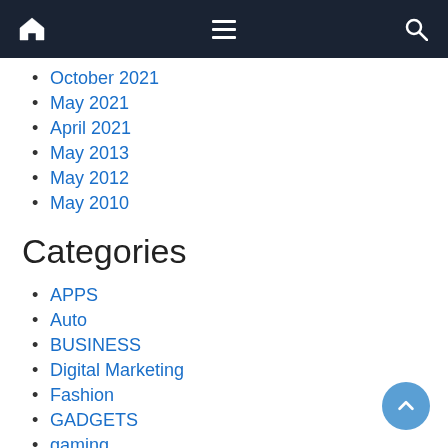Navigation bar with home, menu, and search icons
October 2021
May 2021
April 2021
May 2013
May 2012
May 2010
Categories
APPS
Auto
BUSINESS
Digital Marketing
Fashion
GADGETS
gaming